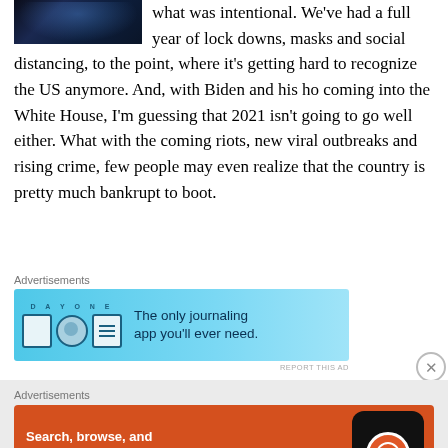[Figure (photo): Dark blue image, appears to be a close-up photograph with blue tones, partially visible at top left]
what was intentional. We've had a full year of lock downs, masks and social distancing, to the point, where it's getting hard to recognize the US anymore. And, with Biden and his ho coming into the White House, I'm guessing that 2021 isn't going to go well either. What with the coming riots, new viral outbreaks and rising crime, few people may even realize that the country is pretty much bankrupt to boot.
Advertisements
[Figure (screenshot): DayOne journaling app advertisement. Blue gradient background with DayOne logo icons and text: 'The only journaling app you'll ever need.']
REPORT THIS AD
Advertisements
[Figure (screenshot): DuckDuckGo advertisement. Orange background with text: 'Search, browse, and email with more privacy. All in One Free App' and a phone mockup showing DuckDuckGo logo.]